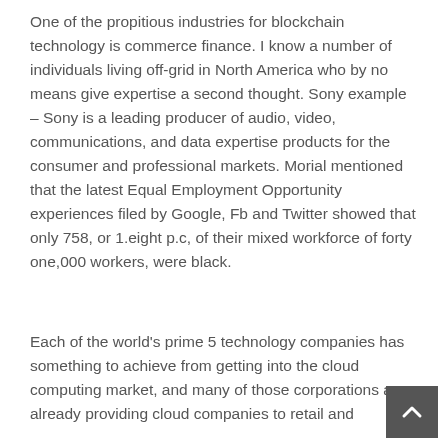One of the propitious industries for blockchain technology is commerce finance. I know a number of individuals living off-grid in North America who by no means give expertise a second thought. Sony example – Sony is a leading producer of audio, video, communications, and data expertise products for the consumer and professional markets. Morial mentioned that the latest Equal Employment Opportunity experiences filed by Google, Fb and Twitter showed that only 758, or 1.eight p.c, of their mixed workforce of forty one,000 workers, were black.
Each of the world's prime 5 technology companies has something to achieve from getting into the cloud computing market, and many of those corporations are already providing cloud companies to retail and